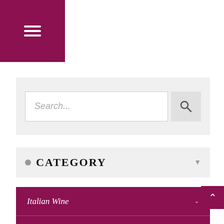[Figure (screenshot): Navigation header bar with hamburger menu icon on dark magenta/purple background]
[Figure (screenshot): Search bar with placeholder text 'Search...' and search button with magnifying glass icon on light grey background]
CATEGORY
Italian Wine
Italian Food
Italian Craft Beer